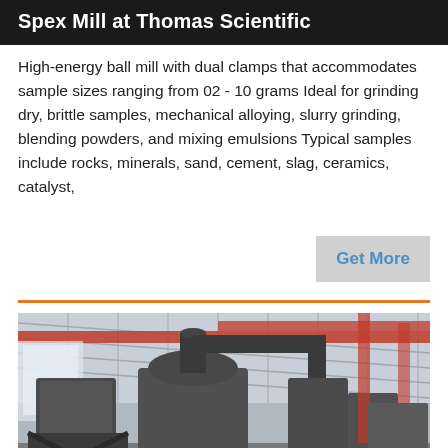Spex Mill at Thomas Scientific
High-energy ball mill with dual clamps that accommodates sample sizes ranging from 02 - 10 grams Ideal for grinding dry, brittle samples, mechanical alloying, slurry grinding, blending powders, and mixing emulsions Typical samples include rocks, minerals, sand, cement, slag, ceramics, catalyst,
Get More
[Figure (photo): Industrial milling/grinding equipment in a factory setting with large cylindrical machinery, ductwork, and overhead red structural beams and steel roof framing.]